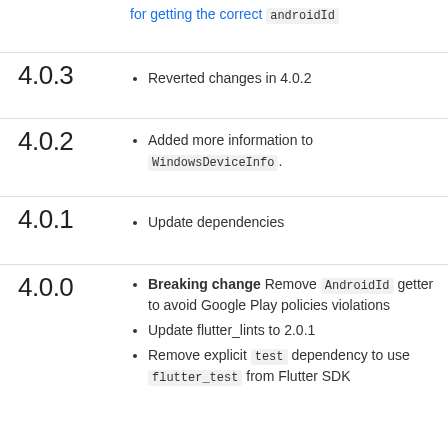for getting the correct androidId
4.0.3
Reverted changes in 4.0.2
4.0.2
Added more information to WindowsDeviceInfo.
4.0.1
Update dependencies
4.0.0
Breaking change Remove AndroidId getter to avoid Google Play policies violations
Update flutter_lints to 2.0.1
Remove explicit test dependency to use flutter_test from Flutter SDK